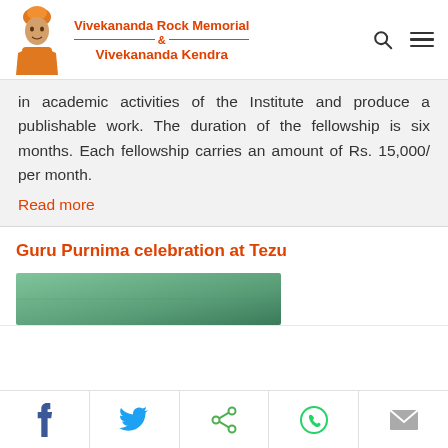Vivekananda Rock Memorial & Vivekananda Kendra
in academic activities of the Institute and produce a publishable work. The duration of the fellowship is six months. Each fellowship carries an amount of Rs. 15,000/ per month.
Read more
Guru Purnima celebration at Tezu
[Figure (photo): Green colored image, partial view of Guru Purnima celebration at Tezu]
Social share bar: Facebook, Twitter, Share, WhatsApp, Email